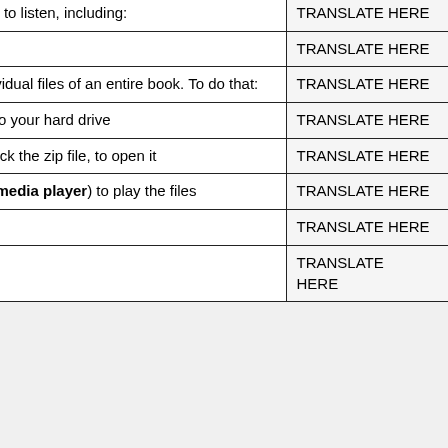| Content | Translation |
| --- | --- |
| Once you find a book you like, there are a few options to listen, including: | TRANSLATE HERE |
| Download the zip file of the entire book | TRANSLATE HERE |
| You can download a “zip” file that contains all the individual files of an entire book. To do that: | TRANSLATE HERE |
| “right-click/save as” the “zip file of the entire book” onto your hard drive | TRANSLATE HERE |
| once it is downloaded (it might take a while) double click the zip file, to open it | TRANSLATE HERE |
| then use a media player (itunes, winamp, windows media player) to play the files | TRANSLATE HERE |
| Subscribe in itunes | TRANSLATE HERE |
| You can download an entire book using the subscribe | TRANSLATE HERE |